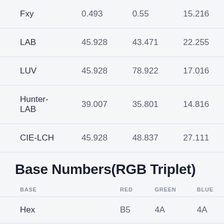|  |  |  |  |
| --- | --- | --- | --- |
| Fxy | 0.493 | 0.55 | 15.216 |
| LAB | 45.928 | 43.471 | 22.255 |
| LUV | 45.928 | 78.922 | 17.016 |
| Hunter-LAB | 39.007 | 35.801 | 14.816 |
| CIE-LCH | 45.928 | 48.837 | 27.111 |
Base Numbers(RGB Triplet)
| BASE | RED | GREEN | BLUE |
| --- | --- | --- | --- |
| Hex | B5 | 4A | 4A |
| Decimal | 181 | 74 | 74 |